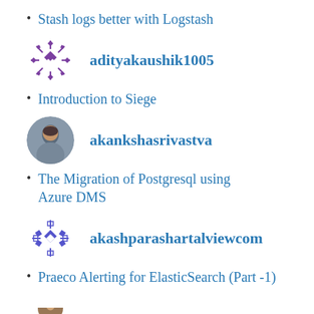Stash logs better with Logstash
[Figure (logo): Purple geometric snowflake/diamond pattern logo avatar for adityakaushik1005]
adityakaushik1005
Introduction to Siege
[Figure (photo): Circular profile photo of a person for akankshasrivastva]
akankshasrivastva
The Migration of Postgresql using Azure DMS
[Figure (logo): Purple geometric diamond/cross pattern logo avatar for akashparashartalviewcom]
akashparashartalviewcom
Praeco Alerting for ElasticSearch (Part -1)
[Figure (photo): Partial circular profile photo visible at bottom of page]